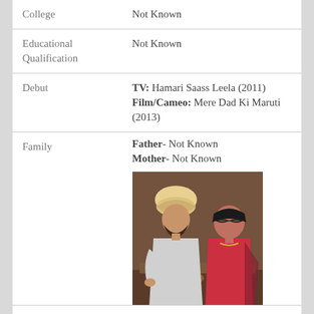| College | Not Known |
| Educational Qualification | Not Known |
| Debut | TV: Hamari Saass Leela (2011)
Film/Cameo: Mere Dad Ki Maruti (2013) |
| Family | Father- Not Known
Mother- Not Known
[Photo of parents] |